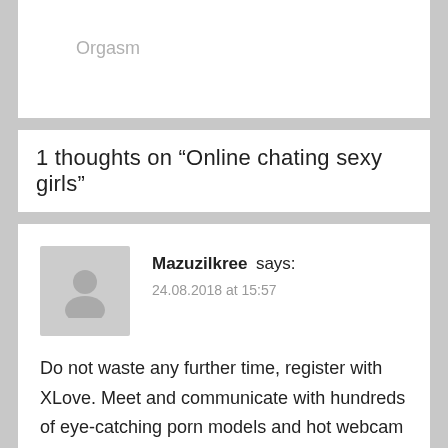Orgasm
1 thoughts on “Online chating sexy girls”
Mazuzilkree says:
24.08.2018 at 15:57

Do not waste any further time, register with XLove. Meet and communicate with hundreds of eye-catching porn models and hot webcam girls in live chat rooms completely free. They always adore to find out fresh cam sex tricks and are always ready to accept suggestions regarding